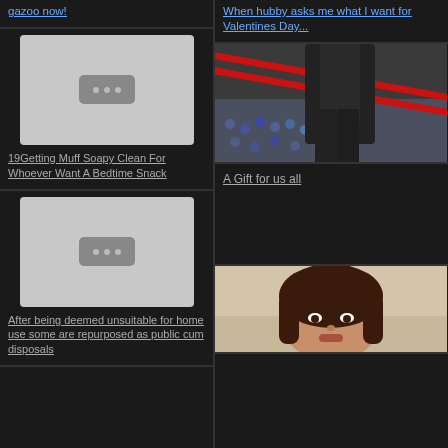gazoo now!
[Figure (screenshot): Thumbnail placeholder with three dots]
19Getting Muff Soapy Clean For Whoever Want A Bedtime Snack
[Figure (screenshot): Thumbnail placeholder with three dots]
After being deemed unsuitable for home use some are repurposed as public cum disposals
[Figure (photo): Wrestling ring with red ropes and crowd in background]
When hubby asks me what I want for Valentines Day...
A Gift for us all
[Figure (photo): Woman with dark hair looking at camera]